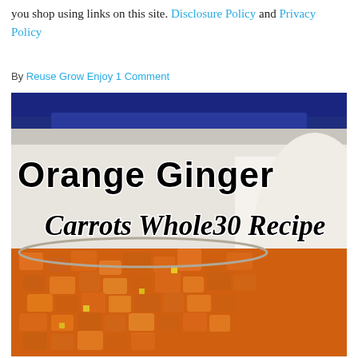you shop using links on this site. Disclosure Policy and Privacy Policy
By Reuse Grow Enjoy 1 Comment
[Figure (photo): Photo of a bowl of diced orange ginger carrots on a white plate with blue napkin in background. Overlaid text reads 'Orange Ginger Carrots Whole30 Recipe' in bold black lettering.]